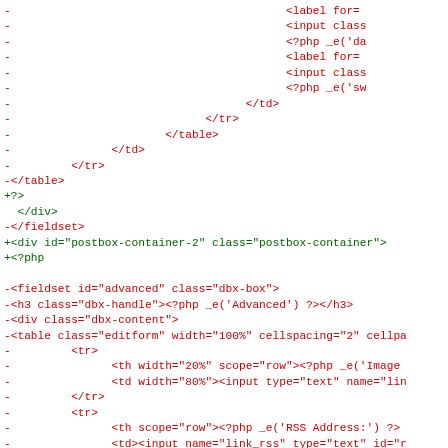[Figure (screenshot): A code diff view showing removed lines (red, prefixed with '-') and added lines (green, prefixed with '+'). The diff shows PHP/HTML template code changes including removal of a fieldset/table structure and addition of a postbox-container div and PHP block, followed by more removed lines for an 'advanced' fieldset with editform table containing Image, RSS Address, and Notes fields.]